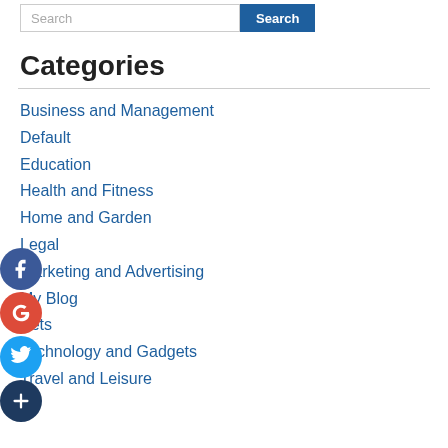Search [search bar with button]
Categories
Business and Management
Default
Education
Health and Fitness
Home and Garden
Legal
Marketing and Advertising
My Blog
Pets
Technology and Gadgets
Travel and Leisure